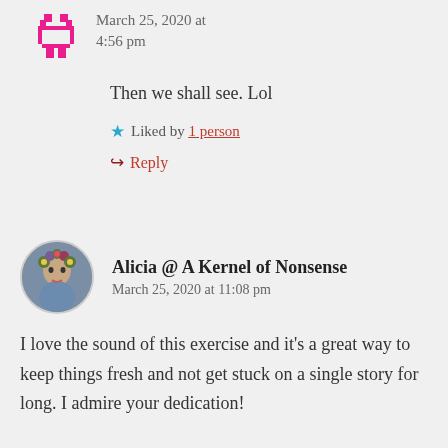March 25, 2020 at 4:56 pm
Then we shall see. Lol
Liked by 1 person
Reply
Alicia @ A Kernel of Nonsense
March 25, 2020 at 11:08 pm
I love the sound of this exercise and it’s a great way to keep things fresh and not get stuck on a single story for long. I admire your dedication!